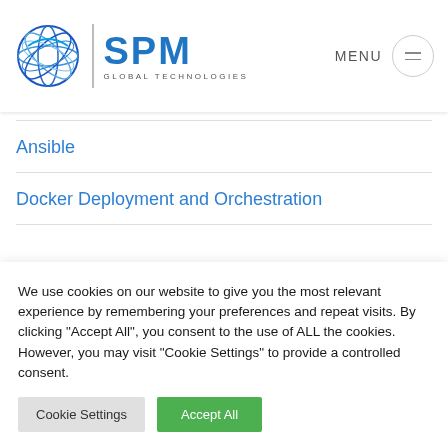[Figure (logo): SPM Global Technologies logo with blue globe icon and vertical divider]
Ansible
Docker Deployment and Orchestration
We use cookies on our website to give you the most relevant experience by remembering your preferences and repeat visits. By clicking "Accept All", you consent to the use of ALL the cookies. However, you may visit "Cookie Settings" to provide a controlled consent.